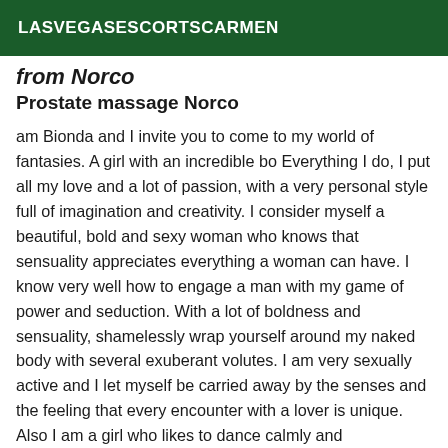LASVEGASESCORTSCARMEN
from Norco
Prostate massage Norco
am Bionda and I invite you to come to my world of fantasies. A girl with an incredible bo Everything I do, I put all my love and a lot of passion, with a very personal style full of imagination and creativity. I consider myself a beautiful, bold and sexy woman who knows that sensuality appreciates everything a woman can have. I know very well how to engage a man with my game of power and seduction. With a lot of boldness and sensuality, shamelessly wrap yourself around my naked body with several exuberant volutes. I am very sexually active and I let myself be carried away by the senses and the feeling that every encounter with a lover is unique. Also I am a girl who likes to dance calmly and spontaneously or share relaxing moments in good company. I can also accompany you on a trip, an intimate dining...